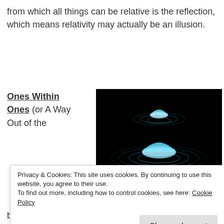from which all things can be relative is the reflection, which means relativity may actually be an illusion.
Ones Within Ones (or A Way Out of the
[Figure (illustration): Digital artwork showing nested glowing blue dome-like structures arranged vertically on a dark black background, with concentric grid rings radiating outward from each dome. The largest dome at the bottom has an orange ring accent.]
Privacy & Cookies: This site uses cookies. By continuing to use this website, you agree to their use.
To find out more, including how to control cookies, see here: Cookie Policy
Close and accept
be symmetrical, as such two conceptual masses, an